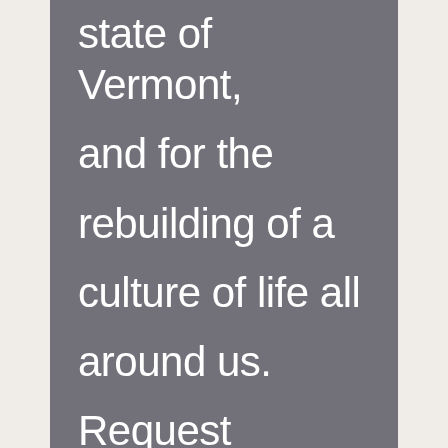state of Vermont, and for the rebuilding of a culture of life all around us. Request rosaries below, or just